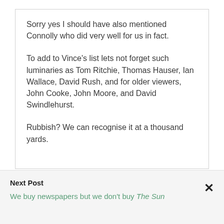Sorry yes I should have also mentioned Connolly who did very well for us in fact.

To add to Vince's list lets not forget such luminaries as Tom Ritchie, Thomas Hauser, Ian Wallace, David Rush, and for older viewers, John Cooke, John Moore, and David Swindlehurst.

Rubbish? We can recognise it at a thousand yards.
Next Post
We buy newspapers but we don't buy The Sun